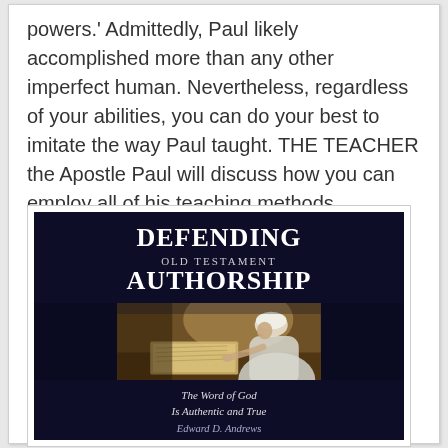powers.' Admittedly, Paul likely accomplished more than any other imperfect human. Nevertheless, regardless of your abilities, you can do your best to imitate the way Paul taught. THE TEACHER the Apostle Paul will discuss how you can employ all of his teaching methods.
[Figure (illustration): Book cover for 'Defending Old Testament Authorship' by Edward D. Andrews. Dark navy background with title text at top, an image of a robed figure reading a scroll or manuscript, and subtitle 'The Word of God Is Authentic and True' at the bottom.]